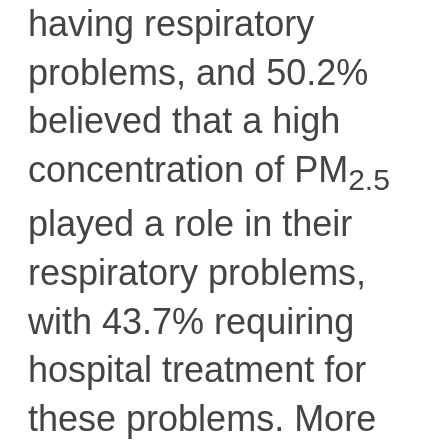having respiratory problems, and 50.2% believed that a high concentration of PM2.5 played a role in their respiratory problems, with 43.7% requiring hospital treatment for these problems. More than half of the respondents (55.5%) were unsure whether the government of Bahrain had taken any measures to